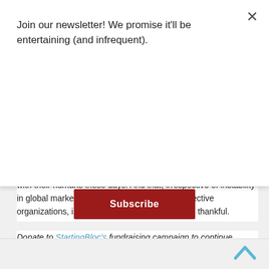Join our newsletter! We promise it'll be entertaining (and infrequent).
[Figure (other): Red Subscribe button]
with their humans these days. And that, irrespective of instability in global markets or budgetary risks to our respective organizations, is something for which we can be thankful.
Donate to StartingBloc's fundraising campaign to continue support its mission of facilitating leadership development and social innovation around the globe. To support the fellows and the organization's administration, the Handbuilt City will be donating 3 months of new Patreon subscriptions for the next seven days.